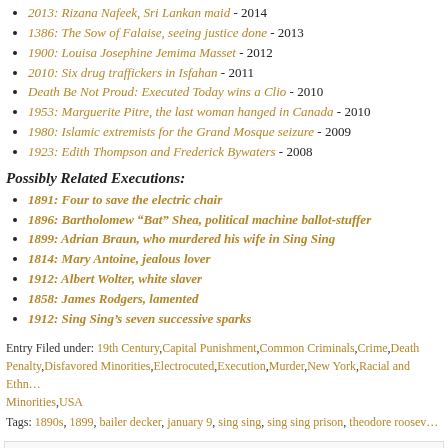2013: Rizana Nafeek, Sri Lankan maid - 2014
1386: The Sow of Falaise, seeing justice done - 2013
1900: Louisa Josephine Jemima Masset - 2012
2010: Six drug traffickers in Isfahan - 2011
Death Be Not Proud: Executed Today wins a Clio - 2010
1953: Marguerite Pitre, the last woman hanged in Canada - 2010
1980: Islamic extremists for the Grand Mosque seizure - 2009
1923: Edith Thompson and Frederick Bywaters - 2008
Possibly Related Executions:
1891: Four to save the electric chair
1896: Bartholomew “Bat” Shea, political machine ballot-stuffer
1899: Adrian Braun, who murdered his wife in Sing Sing
1814: Mary Antoine, jealous lover
1912: Albert Wolter, white slaver
1858: James Rodgers, lamented
1912: Sing Sing’s seven successive sparks
Entry Filed under: 19th Century, Capital Punishment, Common Criminals, Crime, Death Penalty, Disfavored Minorities, Electrocuted, Execution, Murder, New York, Racial and Ethnic Minorities, USA
Tags: 1890s, 1899, bailer decker, january 9, sing sing, sing sing prison, theodore roosev…
Leave a Reply
Your email address will not be published. Required fields are marked *